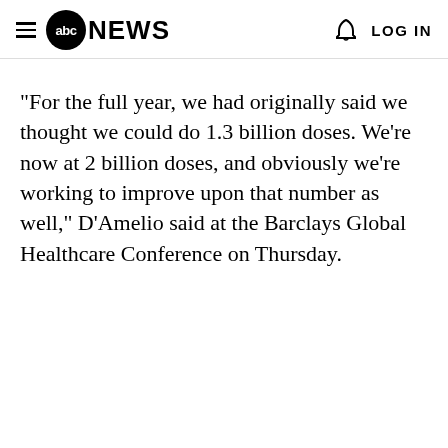abc NEWS  LOG IN
"For the full year, we had originally said we thought we could do 1.3 billion doses. We're now at 2 billion doses, and obviously we're working to improve upon that number as well," D'Amelio said at the Barclays Global Healthcare Conference on Thursday.